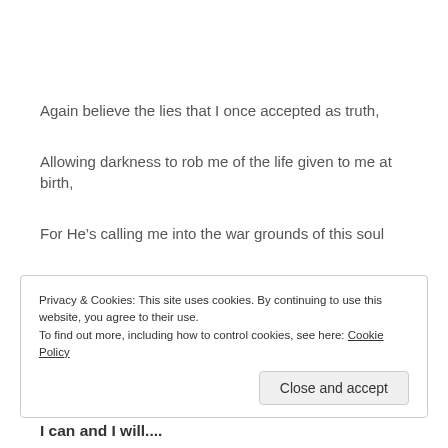Again believe the lies that I once accepted as truth,
Allowing darkness to rob me of the life given to me at birth,
For He’s calling me into the war grounds of this soul
Beating now in rhythms of perfection He’s orchestrated
Privacy & Cookies: This site uses cookies. By continuing to use this website, you agree to their use. To find out more, including how to control cookies, see here: Cookie Policy
I can and I will....